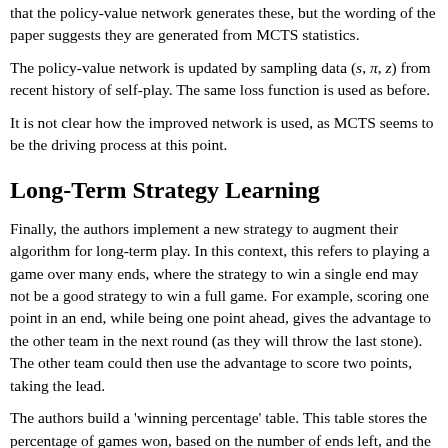that the policy-value network generates these, but the wording of the paper suggests they are generated from MCTS statistics.
The policy-value network is updated by sampling data (s, π, z) from recent history of self-play. The same loss function is used as before.
It is not clear how the improved network is used, as MCTS seems to be the driving process at this point.
Long-Term Strategy Learning
Finally, the authors implement a new strategy to augment their algorithm for long-term play. In this context, this refers to playing a game over many ends, where the strategy to win a single end may not be a good strategy to win a full game. For example, scoring one point in an end, while being one point ahead, gives the advantage to the other team in the next round (as they will throw the last stone). The other team could then use the advantage to score two points, taking the lead.
The authors build a 'winning percentage' table. This table stores the percentage of games won, based on the number of ends left, and the difference in score (current team - opposing team). This can be computed iteratively and using the probability distribution estimation